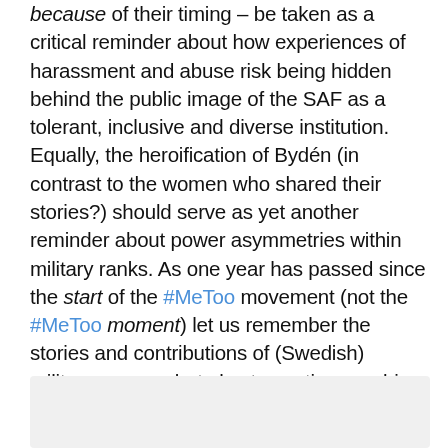because of their timing – be taken as a critical reminder about how experiences of harassment and abuse risk being hidden behind the public image of the SAF as a tolerant, inclusive and diverse institution. Equally, the heroification of Bydén (in contrast to the women who shared their stories?) should serve as yet another reminder about power asymmetries within military ranks. As one year has passed since the start of the #MeToo movement (not the #MeToo moment) let us remember the stories and contributions of (Swedish) military women, but also to continue probing the unsettling role that sexual and gender-based abuse and violence plays in